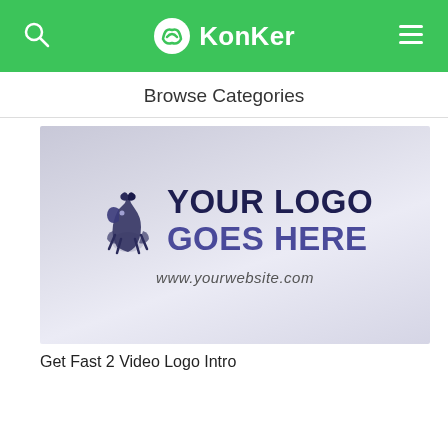KonKer
Browse Categories
[Figure (screenshot): A promotional video thumbnail with a light gray/purple gradient background showing a griffin logo icon next to bold dark blue text reading YOUR LOGO GOES HERE and below it www.yourwebsite.com]
Get Fast 2 Video Logo Intro